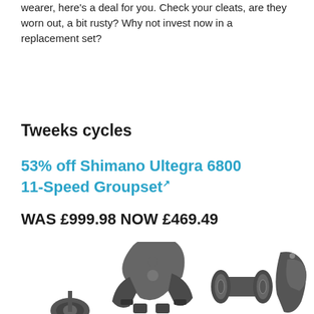wearer, here's a deal for you. Check your cleats, are they worn out, a bit rusty? Why not invest now in a replacement set?
Tweeks cycles
53% off Shimano Ultegra 6800 11-Speed Groupset
WAS £999.98 NOW £469.49
[Figure (photo): Photo of Shimano Ultegra 6800 groupset components including brake calipers, bottom bracket, and brake levers on white background]